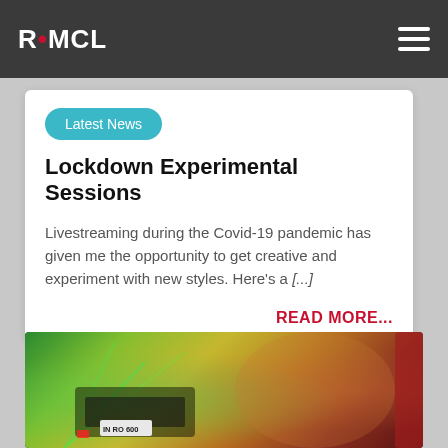R•MCL
Latest News
Lockdown Experimental Sessions
Livestreaming during the Covid-19 pandemic has given me the opportunity to get creative and experiment with new styles. Here's a [...]
READ MORE...
[Figure (photo): A photo of a DJ setup or stage with colorful laser lighting — green, yellow, and red tones illuminate what appears to be DJ equipment and a crowd, with a license plate visible reading IN RO 600.]